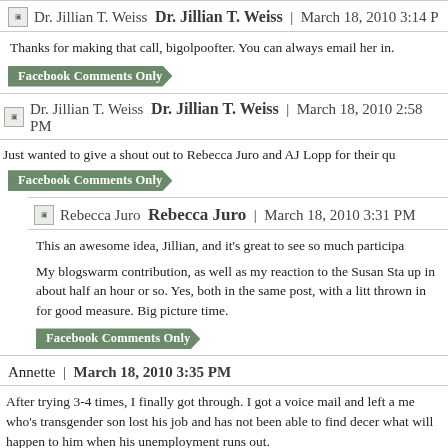Dr. Jillian T. Weiss | March 18, 2010 3:14 P
Thanks for making that call, bigolpoofter. You can always email her in.
Facebook Comments Only
Dr. Jillian T. Weiss | March 18, 2010 2:58 PM
Just wanted to give a shout out to Rebecca Juro and AJ Lopp for their qu
Facebook Comments Only
Rebecca Juro | March 18, 2010 3:31 PM
This an awesome idea, Jillian, and it's great to see so much participa
My blogswarm contribution, as well as my reaction to the Susan Sta up in about half an hour or so. Yes, both in the same post, with a litt thrown in for good measure. Big picture time.
Facebook Comments Only
Annette | March 18, 2010 3:35 PM
After trying 3-4 times, I finally got through. I got a voice mail and left a me who's transgender son lost his job and has not been able to find decer what will happen to him when his unemployment runs out.